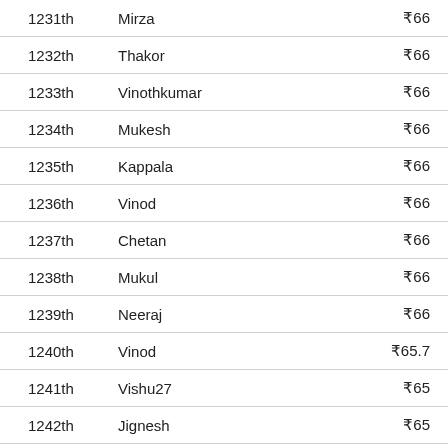| Rank | Name | Amount |
| --- | --- | --- |
| 1231th | Mirza | ₹66 |
| 1232th | Thakor | ₹66 |
| 1233th | Vinothkumar | ₹66 |
| 1234th | Mukesh | ₹66 |
| 1235th | Kappala | ₹66 |
| 1236th | Vinod | ₹66 |
| 1237th | Chetan | ₹66 |
| 1238th | Mukul | ₹66 |
| 1239th | Neeraj | ₹66 |
| 1240th | Vinod | ₹65.7 |
| 1241th | Vishu27 | ₹65 |
| 1242th | Jignesh | ₹65 |